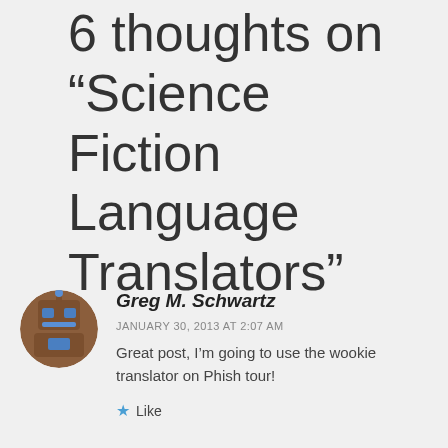6 thoughts on “Science Fiction Language Translators”
[Figure (illustration): Pixel art avatar of a robot/character with brown body and blue accents, circular crop]
Greg M. Schwartz
JANUARY 30, 2013 AT 2:07 AM
Great post, I’m going to use the wookie translator on Phish tour!
★ Like